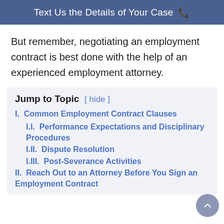Text Us the Details of Your Case 📞
But remember, negotiating an employment contract is best done with the help of an experienced employment attorney.
Jump to Topic [ hide ]
I.  Common Employment Contract Clauses
I.I.  Performance Expectations and Disciplinary Procedures
I.II.  Dispute Resolution
I.III.  Post-Severance Activities
II.  Reach Out to an Attorney Before You Sign an Employment Contract